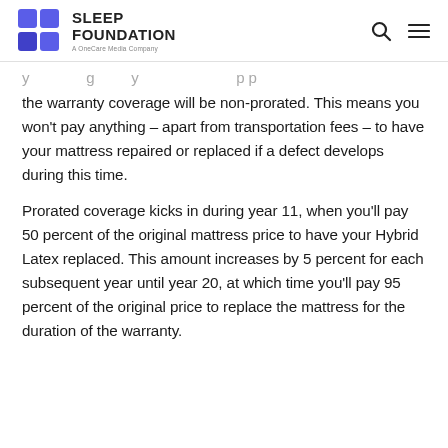SLEEP FOUNDATION — A OneCare Media Company
the warranty coverage will be non-prorated. This means you won't pay anything – apart from transportation fees – to have your mattress repaired or replaced if a defect develops during this time.
Prorated coverage kicks in during year 11, when you'll pay 50 percent of the original mattress price to have your Hybrid Latex replaced. This amount increases by 5 percent for each subsequent year until year 20, at which time you'll pay 95 percent of the original price to replace the mattress for the duration of the warranty.